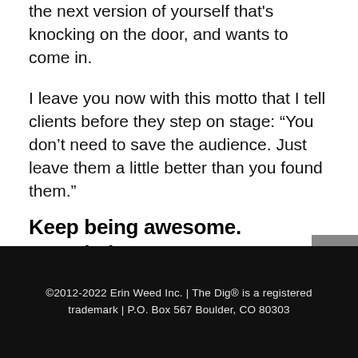the next version of yourself that's knocking on the door, and wants to come in.
I leave you now with this motto that I tell clients before they step on stage: “You don’t need to save the audience. Just leave them a little better than you found them.”
Keep being awesome.
Keep being YOU.
[Figure (illustration): Handwritten cursive signature reading 'Erin Weed']
©2012-2022 Erin Weed Inc. | The Dig® is a registered trademark | P.O. Box 567 Boulder, CO 80303